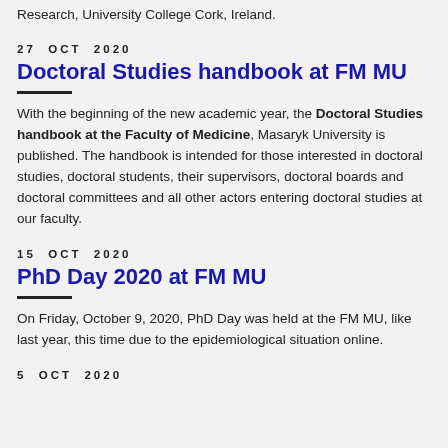Research, University College Cork, Ireland.
27 OCT 2020
Doctoral Studies handbook at FM MU
With the beginning of the new academic year, the Doctoral Studies handbook at the Faculty of Medicine, Masaryk University is published. The handbook is intended for those interested in doctoral studies, doctoral students, their supervisors, doctoral boards and doctoral committees and all other actors entering doctoral studies at our faculty.
15 OCT 2020
PhD Day 2020 at FM MU
On Friday, October 9, 2020, PhD Day was held at the FM MU, like last year, this time due to the epidemiological situation online.
5 OCT 2020